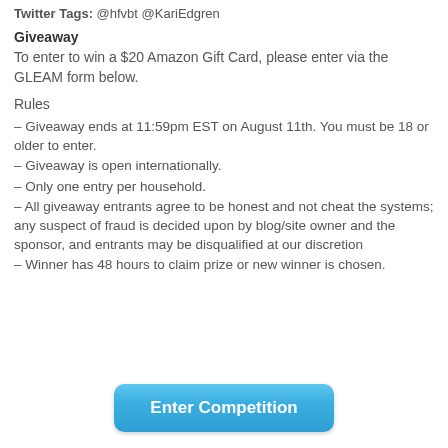Twitter Tags: @hfvbt @KariEdgren
Giveaway
To enter to win a $20 Amazon Gift Card, please enter via the GLEAM form below.
Rules
– Giveaway ends at 11:59pm EST on August 11th. You must be 18 or older to enter.
– Giveaway is open internationally.
– Only one entry per household.
– All giveaway entrants agree to be honest and not cheat the systems; any suspect of fraud is decided upon by blog/site owner and the sponsor, and entrants may be disqualified at our discretion
– Winner has 48 hours to claim prize or new winner is chosen.
[Figure (other): Blue rounded button labeled 'Enter Competition']